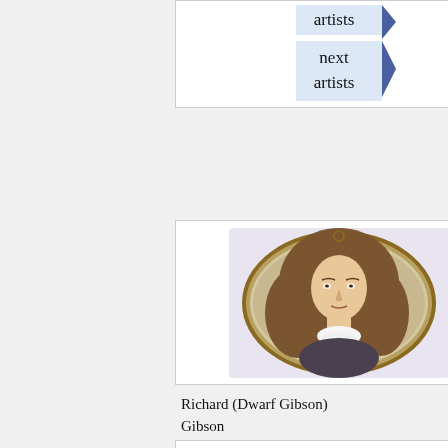[Figure (screenshot): Navigation buttons: 'artists' and 'next artists' with blue arrow indicators on light blue background, inside a white bordered box]
[Figure (photo): Oval framed miniature portrait of a young man with long curly hair wearing armor and a white lace cravat, set against a lavender background, inside a white bordered card]
Richard (Dwarf Gibson) Gibson
[Figure (photo): Partial view of a second artwork card at the bottom of the page, mostly white/blank]